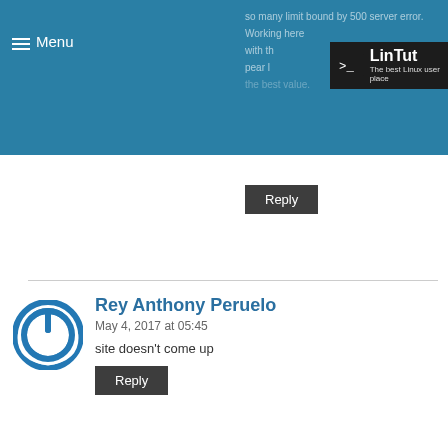LinTut — The best Linux user place
[Figure (logo): LinTut logo with terminal prompt icon and text 'LinTut - The best Linux user place' on teal background]
Reply
Rey Anthony Peruelo
May 4, 2017 at 05:45
site doesn't come up
Reply
khurshed
October 23, 2018 at 17:24
Hi your info: is very nice. But I want learn how to install